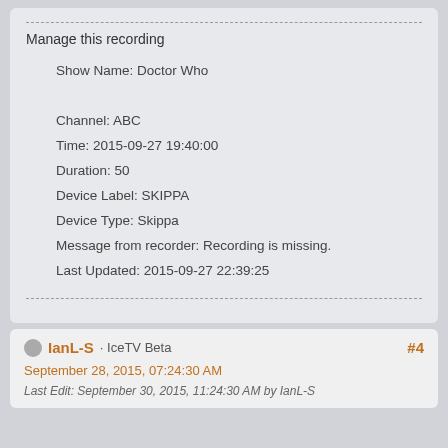Manage this recording
Show Name: Doctor Who
Channel: ABC
Time: 2015-09-27 19:40:00
Duration: 50
Device Label: SKIPPA
Device Type: Skippa
Message from recorder: Recording is missing.
Last Updated: 2015-09-27 22:39:25
IanL-S · IceTV Beta
September 28, 2015, 07:24:30 AM
#4
Last Edit: September 30, 2015, 11:24:30 AM by IanL-S